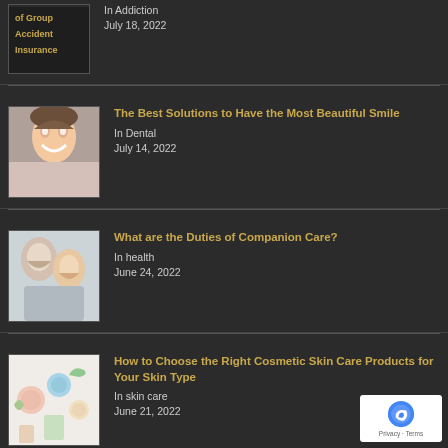[Figure (photo): Partial thumbnail of group accident insurance article, dark background with gold text]
In Addiction
July 18, 2022
[Figure (photo): Woman smiling broadly with hands on face]
The Best Solutions to Have the Most Beautiful Smile
In Dental
July 14, 2022
[Figure (photo): Elderly woman with younger caregiver, companion care]
What are the Duties of Companion Care?
In health
June 24, 2022
[Figure (photo): Cosmetic skin care products laid out on white background]
How to Choose the Right Cosmetic Skin Care Products for Your Skin Type
In skin care
June 21, 2022